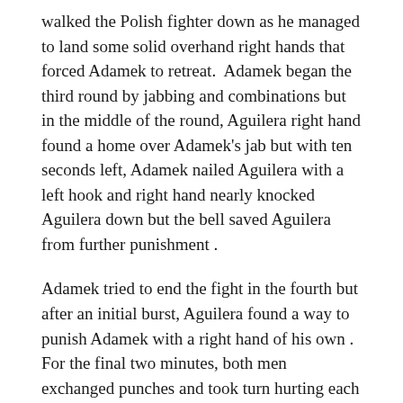walked the Polish fighter down as he managed to land some solid overhand right hands that forced Adamek to retreat.  Adamek began the third round by jabbing and combinations but in the middle of the round, Aguilera right hand found a home over Adamek's jab but with ten seconds left, Adamek nailed Aguilera with a left hook and right hand nearly knocked Aguilera down but the bell saved Aguilera from further punishment .
Adamek tried to end the fight in the fourth but after an initial burst, Aguilera found a way to punish Adamek with a right hand of his own . For the final two minutes, both men exchanged punches and took turn hurting each other.
Adamek boxed and scored with effective combinations in the fifth round as he moved away from Aguilera but in the last minute of the sixth round, Aguilera timed one of Adamek's jab with a solid right hand and left hook that got Adamek attention . From the seventh round through the